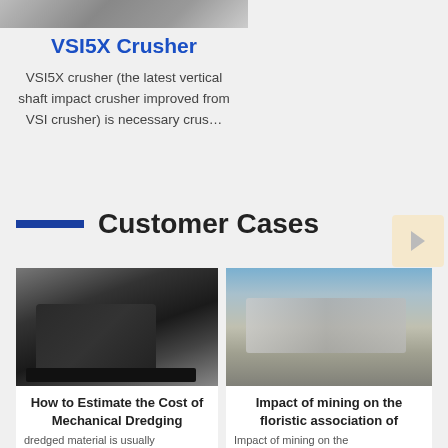[Figure (photo): Top portion of industrial crusher machine, partially visible at top of page]
VSI5X Crusher
VSI5X crusher (the latest vertical shaft impact crusher improved from VSI crusher) is necessary crus…
Customer Cases
[Figure (photo): Industrial crusher machine inside a warehouse/factory setting]
How to Estimate the Cost of Mechanical Dredging
dredged material is usually
[Figure (photo): Outdoor mining equipment/mobile crusher on a quarry site]
Impact of mining on the floristic association of
Impact of mining on the